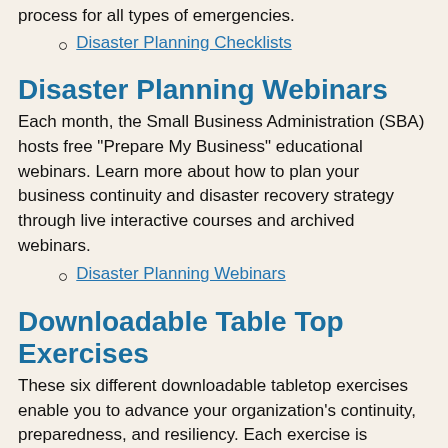process for all types of emergencies.
Disaster Planning Checklists
Disaster Planning Webinars
Each month, the Small Business Administration (SBA) hosts free "Prepare My Business" educational webinars. Learn more about how to plan your business continuity and disaster recovery strategy through live interactive courses and archived webinars.
Disaster Planning Webinars
Downloadable Table Top Exercises
These six different downloadable tabletop exercises enable you to advance your organization's continuity, preparedness, and resiliency. Each exercise is packaged in a PowerPoint with notes pages and video injects so that anyone in your organization can conduct them. Topics include: catastrophic events, cyber threat, earthquake, critical power failure, hurricane, and a